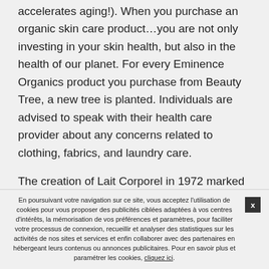accelerates aging!). When you purchase an organic skin care product…you are not only investing in your skin health, but also in the health of our planet. For every Eminence Organics product you purchase from Beauty Tree, a new tree is planted. Individuals are advised to speak with their health care provider about any concerns related to clothing, fabrics, and laundry care.
The creation of Lait Corporel in 1972 marked the making of a legend. Its nourishing milky texture, delicious orange scent will deeply smooth & hydrate your skin. For the latest in fashion, beauty and culture, sign up to receive ELLE's daily newsletter.
We are one of the first cosmetic brands in Canada to
En poursuivant votre navigation sur ce site, vous acceptez l'utilisation de cookies pour vous proposer des publicités ciblées adaptées à vos centres d'intérêts, la mémorisation de vos préférences et paramètres, pour faciliter votre processus de connexion, recueillir et analyser des statistiques sur les activités de nos sites et services et enfin collaborer avec des partenaires en hébergeant leurs contenus ou annonces publicitaires. Pour en savoir plus et paramétrer les cookies, cliquez ici.